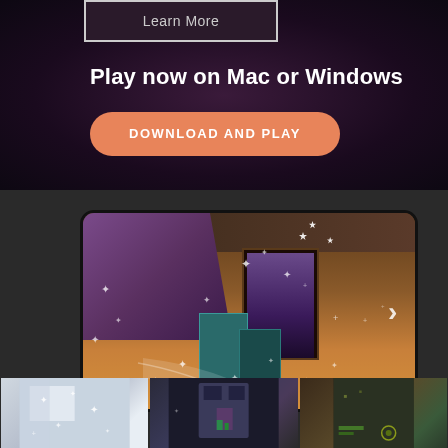Learn More
Play now on Mac or Windows
DOWNLOAD AND PLAY
[Figure (screenshot): Game screenshot showing two robot characters in a 3D environment with orange/brown floors, purple walls, and a dark doorway, with sparkle effects. A right-arrow navigation button is visible on the right side.]
[Figure (screenshot): Three thumbnail screenshots of a game: first showing a white/bright room with sparkle effects, second showing a dark room with purple walls and green character, third showing a dark scene with yellow/green HUD elements.]